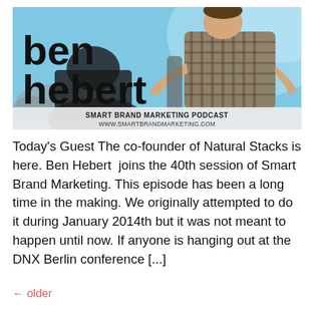[Figure (photo): Podcast banner for Smart Brand Marketing featuring 'ben hebert' in large black text on a blue background with a photo of a man in a plaid shirt gesturing with his hands, and podcast name/URL at the bottom.]
Today's Guest The co-founder of Natural Stacks is here. Ben Hebert  joins the 40th session of Smart Brand Marketing. This episode has been a long time in the making. We originally attempted to do it during January 2014th but it was not meant to happen until now. If anyone is hanging out at the DNX Berlin conference [...]
← older